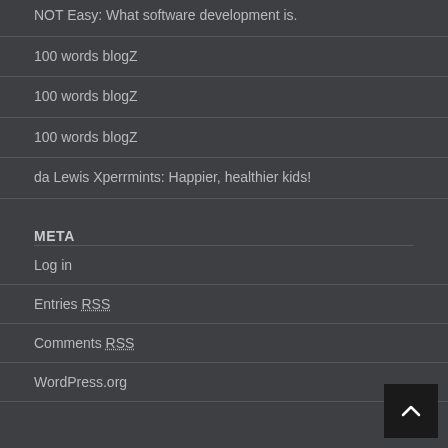NOT Easy: What software development is.
100 words blogZ
100 words blogZ
100 words blogZ
da Lewis Xperrmints: Happier, healthier kids!
META
Log in
Entries RSS
Comments RSS
WordPress.org